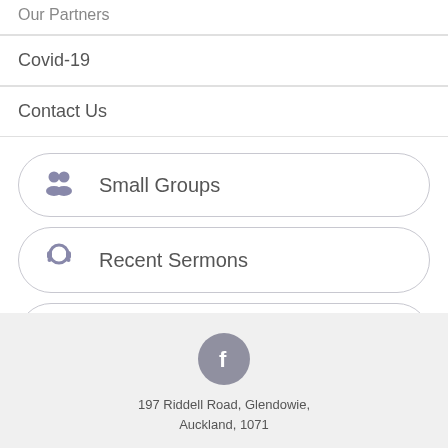Our Partners
Covid-19
Contact Us
Small Groups
Recent Sermons
News & Events
197 Riddell Road, Glendowie, Auckland, 1071